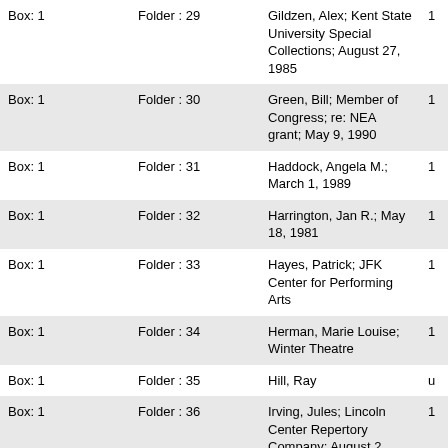| Box: 1 | Folder : 29 | Gildzen, Alex; Kent State University Special Collections; August 27, 1985 | 1 |
| Box: 1 | Folder : 30 | Green, Bill; Member of Congress; re: NEA grant; May 9, 1990 | 1 |
| Box: 1 | Folder : 31 | Haddock, Angela M.; March 1, 1989 | 1 |
| Box: 1 | Folder : 32 | Harrington, Jan R.; May 18, 1981 | 1 |
| Box: 1 | Folder : 33 | Hayes, Patrick; JFK Center for Performing Arts | 1 |
| Box: 1 | Folder : 34 | Herman, Marie Louise; Winter Theatre | 1 |
| Box: 1 | Folder : 35 | Hill, Ray | u |
| Box: 1 | Folder : 36 | Irving, Jules; Lincoln Center Repertory Company; August 2, 1972 | 1 |
| Box: 1 | Folder : 37 | Ishiko, Eiko; November 10 | u |
| Box: 1 | Folder : 38 | Jakobson, Barbara; The Jakobson Foundation; February 14, 1973; May 14, | 1 |